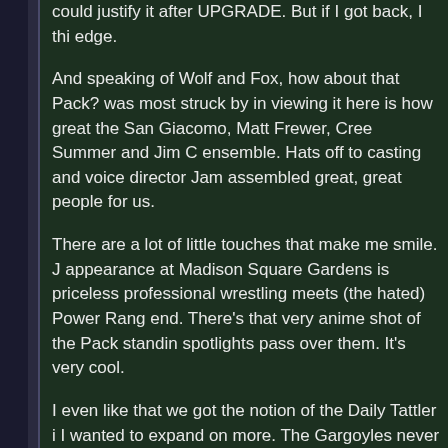could justify it after UPGRADE. But if I got back, I thi edge.
And speaking of Wolf and Fox, how about that Pack? was most struck by in viewing it here is how great the San Giacomo, Matt Frewer, Cree Summer and Jim C ensemble. Hats off to casting and voice director Jam assembled great, great people for us.
There are a lot of little touches that make me smile. J appearance at Madison Square Gardens is priceless professional wrestling meets (the hated) Power Rang end. There's that very anime shot of the Pack standin spotlights pass over them. It's very cool.
I even like that we got the notion of the Daily Tattler i I wanted to expand on more. The Gargoyles never m themselves very hidden. Oh sure, they weren't holdin conferences, but they didn't sweat it if they were spo an urban myth they became, the less the majority of them. And once stories about Gargoyles started regu would be sure the whole thing was faked. I'm not sur